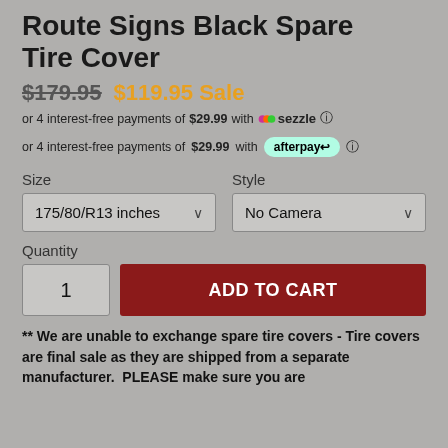Route Signs Black Spare Tire Cover
$179.95  $119.95 Sale
or 4 interest-free payments of $29.99 with Sezzle
or 4 interest-free payments of $29.99 with afterpay
Size
175/80/R13 inches
Style
No Camera
Quantity
1
ADD TO CART
** We are unable to exchange spare tire covers - Tire covers are final sale as they are shipped from a separate manufacturer.  PLEASE make sure you are